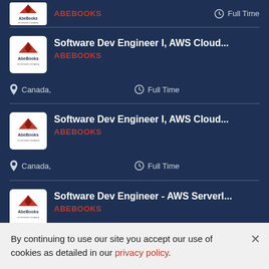ABEBOOKS — Canada, Full Time (partial top card)
Software Dev Engineer I, AWS Cloud... — ABEBOOKS — Canada, Full Time
Software Dev Engineer I, AWS Cloud... — ABEBOOKS — Canada, Full Time
Software Dev Engineer - AWS Serverl... — ABEBOOKS — Canada, Full Time (partial)
By continuing to use our site you accept our use of cookies as detailed in our privacy policy.